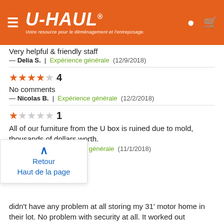U-HAUL® Votre resource pour le déménagement et l'entreposage.
Very helpful & friendly staff
— Delia S. | Expérience générale (12/9/2018)
★★★★½ 4
No comments
— Nicolas B. | Expérience générale (12/2/2018)
★☆☆☆☆ 1
All of our furniture from the U box is ruined due to mold, thousands of dollars worth.
— Marnix V. | Expérience générale (11/1/2018)
Retour
Haut de la page
didn't have any problem at all storing my 31' motor home in their lot. No problem with security at all. It worked out